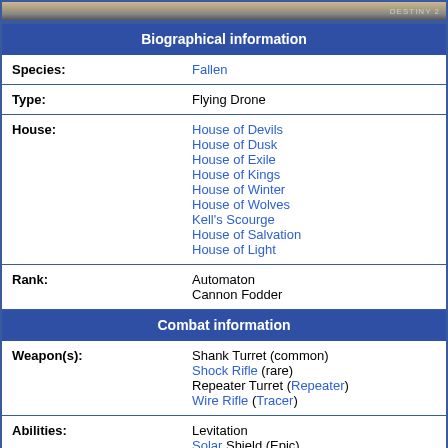[Figure (photo): Top banner image showing a game screenshot (Destiny) with gradient brown/grey tones and small logo text on the right]
| Biographical information |  |
| Species: | Fallen |
| Type: | Flying Drone |
| House: | House of Devils
House of Dusk
House of Exile
House of Kings
House of Winter
House of Wolves
Kell's Scourge
House of Salvation
House of Light |
| Rank: | Automaton
Cannon Fodder |
| Combat information |  |
| Weapon(s): | Shank Turret (common)
Shock Rifle (rare)
Repeater Turret (Repeater)
Wire Rifle (Tracer) |
| Abilities: | Levitation
Solar Shield (Epic) |